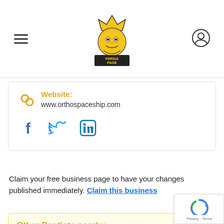PERSIA PAGE - navigation header with hamburger menu and user icon
Website: www.orthospaceship.com
[Figure (logo): Social media icons: Facebook, Twitter, LinkedIn]
Claim your free business page to have your changes published immediately. Claim this business
Other Dentists nearby
more Dentists near Isaac Hakim | Orthodontist